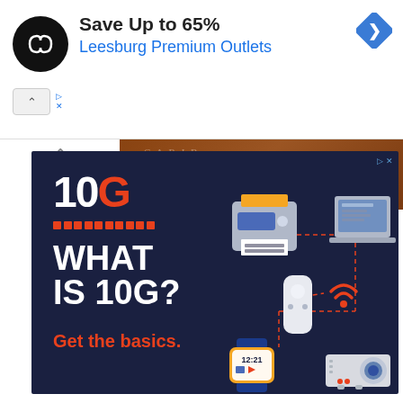[Figure (screenshot): Top advertisement banner: black circular logo with infinity symbol, text 'Save Up to 65%' and 'Leesburg Premium Outlets' in blue, blue diamond navigation icon top right, small ad controls bottom left]
[Figure (photo): Background strip showing an old brown/sepia map with text markings visible]
[Figure (infographic): 10G advertisement on dark navy background: '10G' logo with red G and orange dots, large white bold text 'WHAT IS 10G?', orange text 'Get the basics.', icons of printer, laptop, wifi hub, smartwatch showing 12:21, projector connected with red dashed lines]